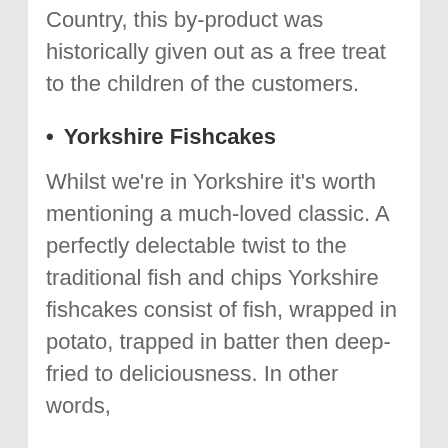Country, this by-product was historically given out as a free treat to the children of the customers.
Yorkshire Fishcakes
Whilst we’re in Yorkshire it’s worth mentioning a much-loved classic. A perfectly delectable twist to the traditional fish and chips Yorkshire fishcakes consist of fish, wrapped in potato, trapped in batter then deep-fried to deliciousness. In other words,